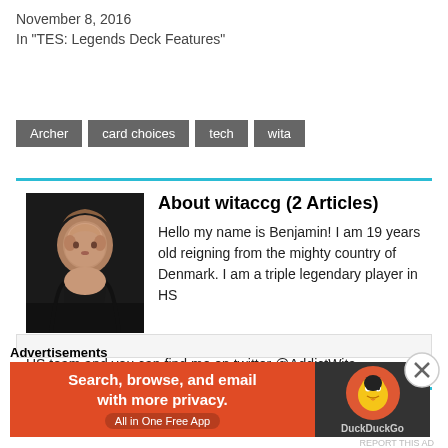November 8, 2016
In "TES: Legends Deck Features"
Archer
card choices
tech
wita
About witaccg (2 Articles)
[Figure (photo): Headshot photo of a young man with short hair in a dark shirt against a dark background]
Hello my name is Benjamin! I am 19 years old reigning from the mighty country of Denmark. I am a triple legendary player in HS and legend in TES:L. I am the manager for Addiction Esports' HS team and you can find me on twitter @AddictWita
Advertisements
[Figure (screenshot): DuckDuckGo advertisement banner: Search, browse, and email with more privacy. All in One Free App]